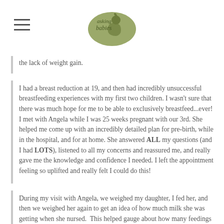Asking Babies (logo)
the lack of weight gain.
I had a breast reduction at 19, and then had incredibly unsuccessful breastfeeding experiences with my first two children. I wasn't sure that there was much hope for me to be able to exclusively breastfeed...ever! I met with Angela while I was 25 weeks pregnant with our 3rd. She helped me come up with an incredibly detailed plan for pre-birth, while in the hospital, and for at home. She answered ALL my questions (and I had LOTS), listened to all my concerns and reassured me, and really gave me the knowledge and confidence I needed. I left the appointment feeling so uplifted and really felt I could do this!
During my visit with Angela, we weighed my daughter, I fed her, and then we weighed her again to get an idea of how much milk she was getting when she nursed.  This helped gauge about how many feedings she should be getting in a day.  After doing all the calculations, Angela advised that she actually needed 7-8 feedings a day in order to be